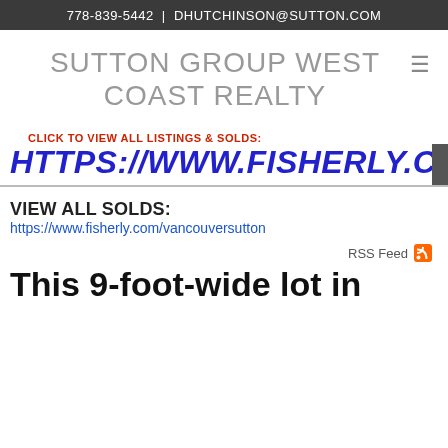778-839-5442  |  DHUTCHINSON@SUTTON.COM
SUTTON GROUP WEST COAST REALTY
CLICK TO VIEW ALL LISTINGS & SOLDS:
HTTPS://WWW.FISHERLY.COM/
VIEW ALL SOLDS:
https://www.fisherly.com/vancouversutton
RSS Feed
This 9-foot-wide lot in